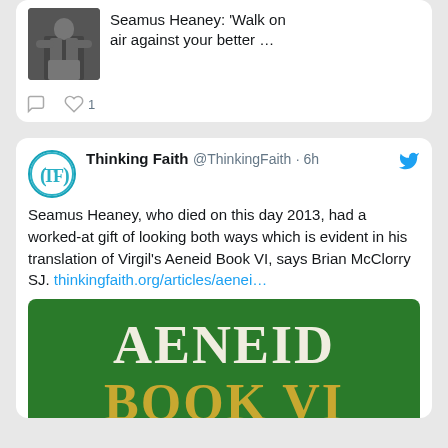[Figure (screenshot): Twitter/X screenshot showing two tweets. Top tweet has a photo of a person at a podium and text 'Seamus Heaney: Walk on air against your better …' with 1 like. Bottom tweet from Thinking Faith @ThinkingFaith 6h: 'Seamus Heaney, who died on this day 2013, had a worked-at gift of looking both ways which is evident in his translation of Virgil's Aeneid Book VI, says Brian McClorry SJ. thinkingfaith.org/articles/aenei…' with an image of a green book cover showing 'AENEID BOOK VI']